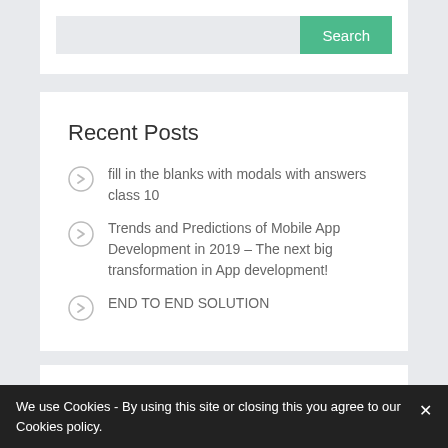[Figure (screenshot): Search bar with a light gray input field and a green 'Search' button]
Recent Posts
fill in the blanks with modals with answers class 10
Trends and Predictions of Mobile App Development in 2019 – The next big transformation in App development!
END TO END SOLUTION
Recent Comments
We use Cookies - By using this site or closing this you agree to our Cookies policy.